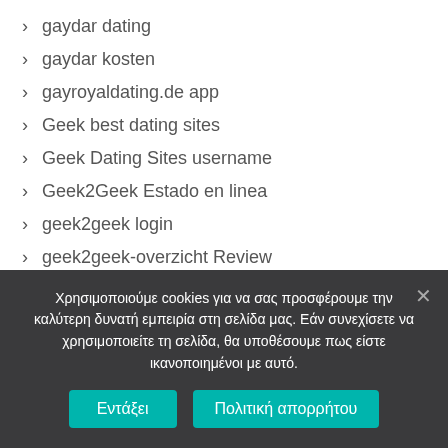gaydar dating
gaydar kosten
gayroyaldating.de app
Geek best dating sites
Geek Dating Sites username
Geek2Geek Estado en linea
geek2geek login
geek2geek-overzicht Review
Georgia payday loans near me
Χρησιμοποιούμε cookies για να σας προσφέρουμε την καλύτερη δυνατή εμπειρία στη σελίδα μας. Εάν συνεχίσετε να χρησιμοποιείτε τη σελίδα, θα υποθέσουμε πως είστε ικανοποιημένοι με αυτό.
Εντάξει | Πολιτική απορρήτου